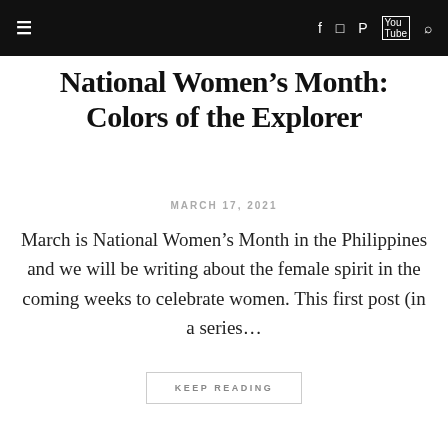≡  f  Instagram  Pinterest  YouTube  🔍
National Women's Month: Colors of the Explorer
MARCH 17, 2021
March is National Women's Month in the Philippines and we will be writing about the female spirit in the coming weeks to celebrate women. This first post (in a series…
KEEP READING